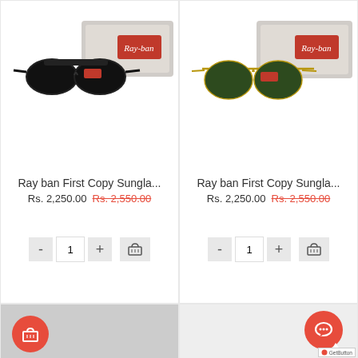[Figure (photo): Ray ban sunglasses (black frames) with grey Ray-ban branded box, white background]
Ray ban First Copy Sungla...
Rs. 2,250.00  Rs. 2,550.00
[Figure (photo): Ray ban aviator sunglasses (gold frames) with grey Ray-ban branded box, white background]
Ray ban First Copy Sungla...
Rs. 2,250.00  Rs. 2,550.00
[Figure (photo): Partial view of bottom-left product card with red shopping cart FAB button]
[Figure (photo): Partial view of bottom-right product card with red chat FAB button and GetButton badge]